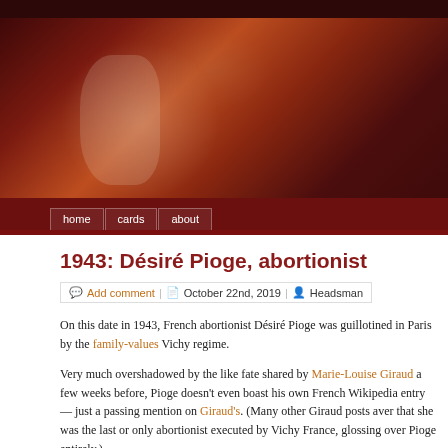[Figure (photo): Header image: dark reddish-brown painting showing figures in a dramatic scene, resembling a Goya war/execution painting]
home | cards | about
1943: Désiré Pioge, abortionist
Add comment  |  October 22nd, 2019  |  Headsman
On this date in 1943, French abortionist Désiré Pioge was guillotined in Paris by the family-values Vichy regime.
Very much overshadowed by the like fate shared by Marie-Louise Giraud a few weeks before, Pioge doesn't even boast his own French Wikipedia entry — just a passing mention on Giraud's. (Many other Giraud posts aver that she was the last or only abortionist executed by Vichy France, glossing over Pioge entirely.)
According to the scanty available notes collected by this site, this 46-year-old horse-gelder from Saint-Ouen-en-Belin already had two prewar convictions for abortion, in 1935 and 1939. He'd served 18 months for manslaughter in the latter case, when his services caused the death of the mother.
Abortion had been criminalized in some form in France since the Napoleonic era...